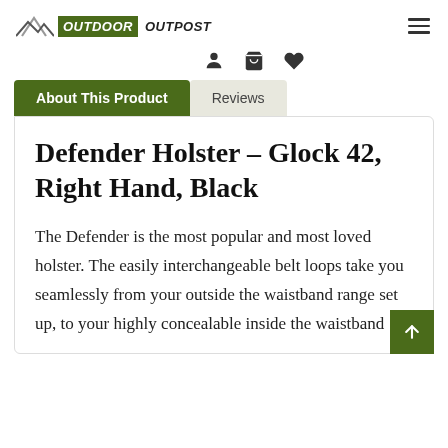[Figure (logo): Outdoor Outpost logo with mountain icon and green/black text]
[Figure (illustration): Hamburger menu icon (three horizontal lines)]
[Figure (illustration): Icon bar with person, shopping cart, and heart icons]
About This Product
Reviews
Defender Holster – Glock 42, Right Hand, Black
The Defender is the most popular and most loved holster. The easily interchangeable belt loops take you seamlessly from your outside the waistband range set up, to your highly concealable inside the waistband